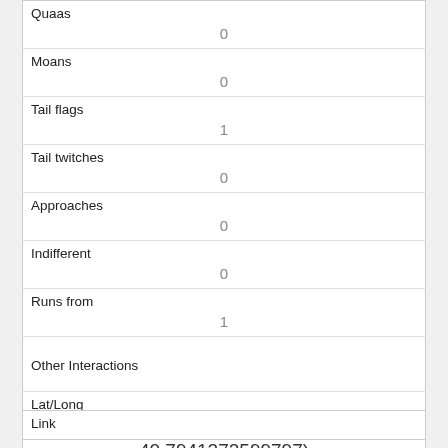| Quaas | 0 |
| Moans | 0 |
| Tail flags | 1 |
| Tail twitches | 0 |
| Approaches | 0 |
| Indifferent | 0 |
| Runs from | 1 |
| Other Interactions |  |
| Lat/Long | POINT (-73.9537691298752 40.7941272599797) |
| Link |  |